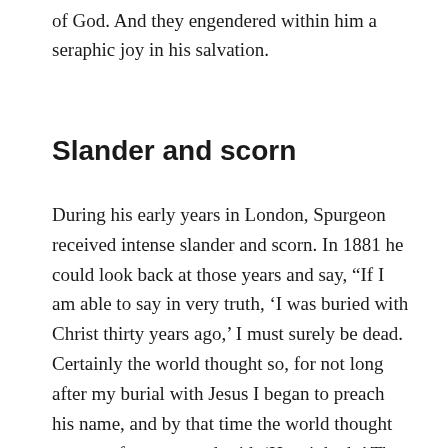of God. And they engendered within him a seraphic joy in his salvation.
Slander and scorn
During his early years in London, Spurgeon received intense slander and scorn. In 1881 he could look back at those years and say, “If I am able to say in very truth, ‘I was buried with Christ thirty years ago,’ I must surely be dead. Certainly the world thought so, for not long after my burial with Jesus I began to preach his name, and by that time the world thought me very far gone, and said, ‘He stinketh.’ They